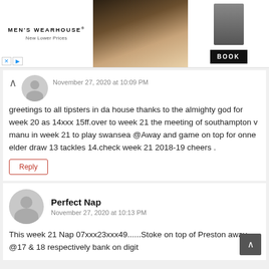[Figure (other): Men's Wearhouse advertisement banner with couple in formal wear and a Book button]
November 27, 2020 at 10:09 PM
greetings to all tipsters in da house thanks to the almighty god for week 20 as 14xxx 15ff.over to week 21 the meeting of southampton v manu in week 21 to play swansea @Away and game on top for onne elder draw 13 tackles 14.check week 21 2018-19 cheers .
Reply
Perfect Nap
November 27, 2020 at 10:13 PM
This week 21 Nap 07xxx23xxx49......Stoke on top of Preston away @17 & 18 respectively bank on digit